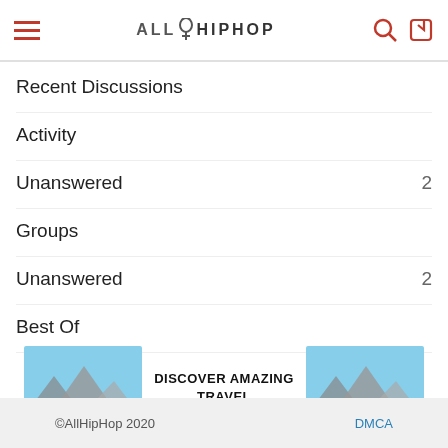AllHipHop
Recent Discussions
Activity
Unanswered  2
Groups
Unanswered  2
Best Of
[Figure (infographic): Advertisement banner: mountain/Yosemite travel image on left and right sides, center text DISCOVER AMAZING TRAVEL SIDESTAGE.COM, ezoic logo below left, report this ad below right]
©AllHipHop 2020   DMCA